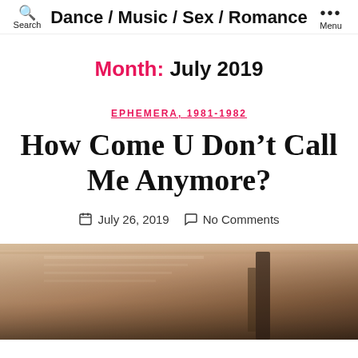Dance / Music / Sex / Romance  Search  Menu
Month: July 2019
EPHEMERA, 1981-1982
How Come U Don't Call Me Anymore?
July 26, 2019  No Comments
[Figure (photo): A vintage-toned photograph showing what appears to be audio equipment or records in a home setting]